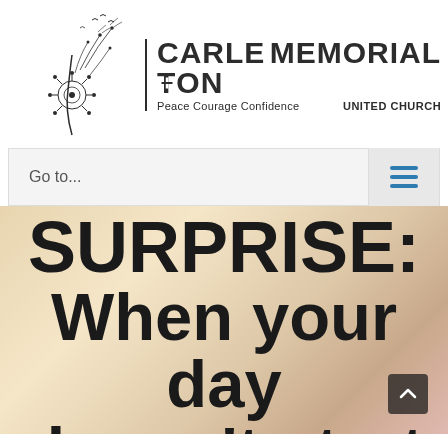[Figure (logo): Carleton Memorial United Church logo with dandelion illustration. Text reads CARLETON MEMORIAL with tagline Peace Courage Confidence and UNITED CHURCH]
Go to...
SURPRISE – SURPRISE: When your day doesn't start